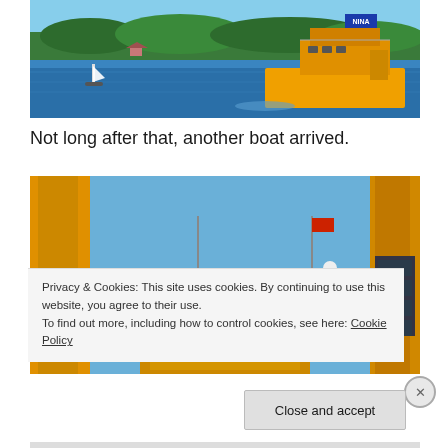[Figure (photo): Yellow ferry boat named NINA on blue water with trees and small buildings visible on the far shore. A sailboat is also visible in the background on the left side.]
Not long after that, another boat arrived.
[Figure (photo): Close-up photograph of a yellow ferry/boat structure. A person in white clothing stands on the bridge/wheelhouse. Orange crane structures visible on the left and right sides. Blue sky background. A Canadian flag is visible on a pole. Life rings visible on the vessel.]
Privacy & Cookies: This site uses cookies. By continuing to use this website, you agree to their use.
To find out more, including how to control cookies, see here: Cookie Policy
Close and accept